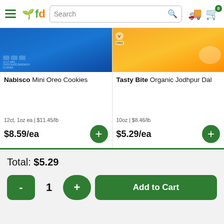fd Search [search icon] [truck icon] [cart icon] 0
[Figure (screenshot): Product image for Nabisco Mini Oreo Cookies - blue packaging partial view]
Nabisco Mini Oreo Cookies
12ct, 1oz ea | $11.45/lb
$8.59/ea
[Figure (screenshot): Product image for Tasty Bite Organic Jodhpur Dal - yellow/orange packaging partial view]
Tasty Bite Organic Jodhpur Dal
10oz | $8.46/lb
$5.29/ea
Total: $5.29
- 1 + Add to Cart